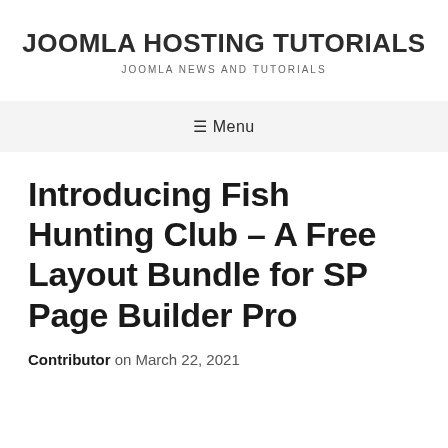JOOMLA HOSTING TUTORIALS
JOOMLA NEWS AND TUTORIALS
≡ Menu
Introducing Fish Hunting Club – A Free Layout Bundle for SP Page Builder Pro
Contributor on March 22, 2021